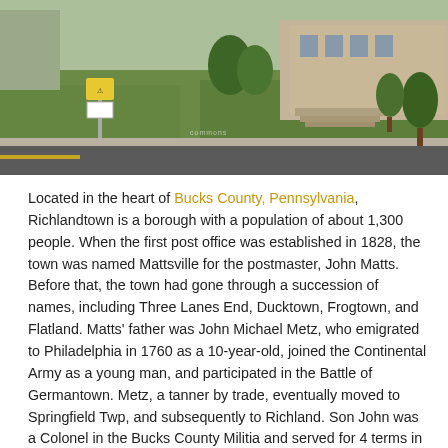[Figure (photo): Outdoor photo of a public building with green lawn, steps leading to entrance, a road in the foreground, a pedestrian crossing sign post on the left, and trees on the right. Shot in daylight.]
Located in the heart of Bucks County, Pennsylvania, Richlandtown is a borough with a population of about 1,300 people. When the first post office was established in 1828, the town was named Mattsville for the postmaster, John Matts. Before that, the town had gone through a succession of names, including Three Lanes End, Ducktown, Frogtown, and Flatland. Matts' father was John Michael Metz, who emigrated to Philadelphia in 1760 as a 10-year-old, joined the Continental Army as a young man, and participated in the Battle of Germantown. Metz, a tanner by trade, eventually moved to Springfield Twp, and subsequently to Richland. Son John was a Colonel in the Bucks County Militia and served for 4 terms in the state assembly. When Christian A. Snyder became postmaster in 1839, the name was changed from Mattsville to Richlandtown. The borough was incorporated in 1890. Members of the Freed family operated various shoe factories, making the area renowned, for a time, as a shoemaking center. Jacob Snyder manufactured flynets for horses, and his product was sold across the U.S. Today, Richlandtown is primarily a residential community that consists of more than 400 homes. Richlandtown is governed by a Mayor and 7-member